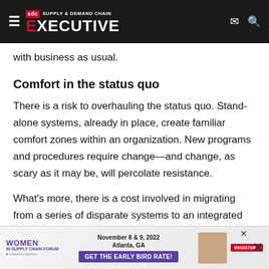Supply & Demand Chain Executive
with business as usual.
Comfort in the status quo
There is a risk to overhauling the status quo. Stand-alone systems, already in place, create familiar comfort zones within an organization. New programs and procedures require change—and change, as scary as it may be, will percolate resistance.
What's more, there is a cost involved in migrating from a series of disparate systems to an integrated supply chain model. S[...] ch to plug and[...]
[Figure (other): Advertisement banner for Women in Supply Chain Forum, November 8 & 9, 2022, Atlanta, GA. Purple banner with 'GET THE EARLY BIRD RATE!' call to action and REGISTER button.]